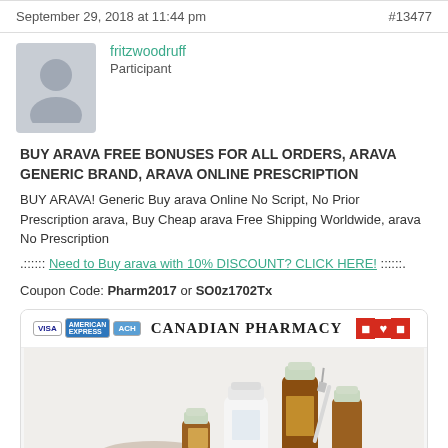September 29, 2018 at 11:44 pm   #13477
fritzwoodruff
Participant
BUY ARAVA FREE BONUSES FOR ALL ORDERS, ARAVA GENERIC BRAND, ARAVA ONLINE PRESCRIPTION
BUY ARAVA! Generic Buy arava Online No Script, No Prior Prescription arava, Buy Cheap arava Free Shipping Worldwide, arava No Prescription
.:::::: Need to Buy arava with 10% DISCOUNT? CLICK HERE! ::::::.
Coupon Code: Pharm2017 or SO0z1702Tx
[Figure (infographic): Canadian Pharmacy advertisement banner with payment card logos (Visa, American Express, ACH), text 'CANADIAN PHARMACY' with Canadian flag icon, and image of medicine bottles and pills with text 'ENTER HERE' at bottom in red.]